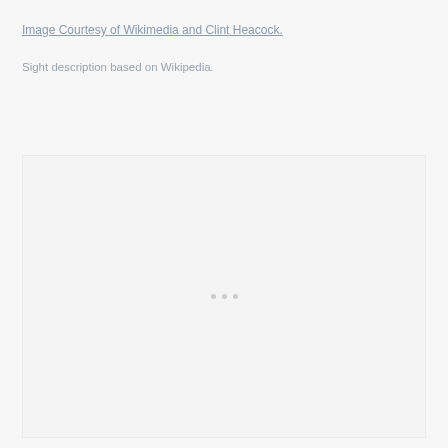Image Courtesy of Wikimedia and Clint Heacock.
Sight description based on Wikipedia.
[Figure (photo): Placeholder image area with faint dots, mostly empty light gray box representing an image that was not loaded or is unavailable.]